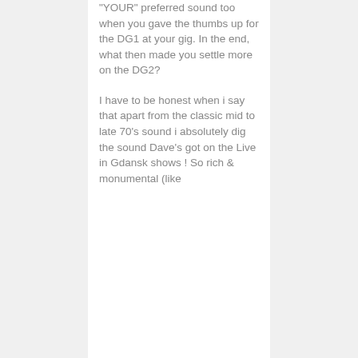"YOUR" preferred sound too when you gave the thumbs up for the DG1 at your gig. In the end, what then made you settle more on the DG2?
I have to be honest when i say that apart from the classic mid to late 70's sound i absolutely dig the sound Dave's got on the Live in Gdansk shows ! So rich & monumental (like